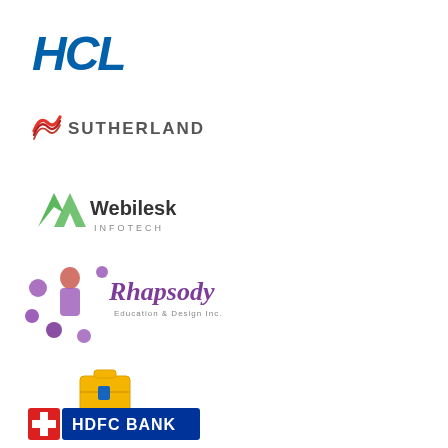[Figure (logo): HCL logo in blue italic bold letters]
[Figure (logo): Sutherland logo with striped wave icon and company name]
[Figure (logo): Webilesk Infotech logo with green arrow icon]
[Figure (logo): Rhapsody Education & Design Inc logo with cartoon girl and music notes]
[Figure (logo): CareerSchool HR Solutions logo with briefcase icon]
[Figure (logo): HDFC Bank logo with red cross icon on blue background]